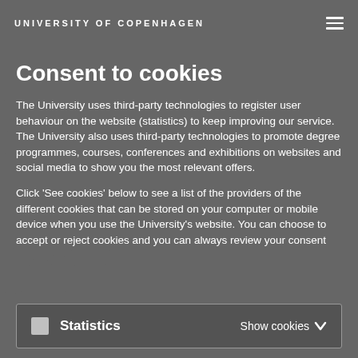UNIVERSITY OF COPENHAGEN
Consent to cookies
The University uses third-party technologies to register user behaviour on the website (statistics) to keep improving our service. The University also uses third-party technologies to promote degree programmes, courses, conferences and exhibitions on websites and social media to show you the most relevant offers.
Click 'See cookies' below to see a list of the providers of the different cookies that can be stored on your computer or mobile device when you use the University's website. You can choose to accept or reject cookies and you can always review your consent
Statistics    Show cookies